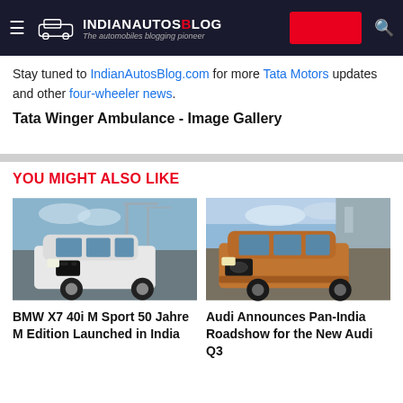IndianAutosBlog - The automobiles blogging pioneer
Stay tuned to IndianAutosBlog.com for more Tata Motors updates and other four-wheeler news.
Tata Winger Ambulance - Image Gallery
YOU MIGHT ALSO LIKE
[Figure (photo): BMW X7 40i M Sport 50 Jahre M Edition white SUV at industrial port setting]
BMW X7 40i M Sport 50 Jahre M Edition Launched in India
[Figure (photo): Audi Q3 orange/copper colored SUV in modern architectural setting]
Audi Announces Pan-India Roadshow for the New Audi Q3